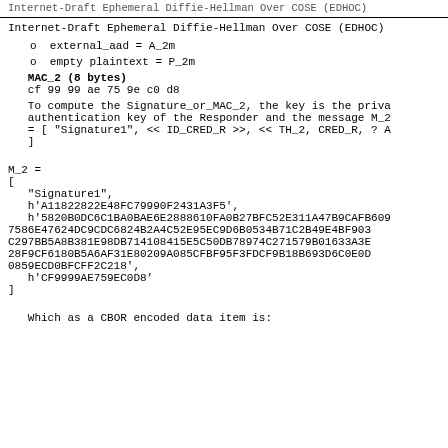Internet-Draft Ephemeral Diffie-Hellman Over COSE (EDHOC)
o  external_aad = A_2m
o  empty plaintext = P_2m
MAC_2 (8 bytes)
cf 99 99 ae 75 9e c0 d8
To compute the Signature_or_MAC_2, the key is the private authentication key of the Responder and the message M_2 = [ "Signature1", << ID_CRED_R >>, << TH_2, CRED_R, ? A ]
M_2 =
[
   "Signature1",
   h'A11822822E48FC79990F2431A3F5',
   h'5820B0DC6C1BA0BAE6E2888610FA0B27BFC52E311A47B9CAFB609
7586E47624DC9CDC6824B2A4C52E95EC9D6B0534B71C2B49E4BF903
C297BB5A8B381E98DB714108415E5C50DB78974C271579B01633A3E
28F9CF6180B5A6AF31E80209A085CFBF95F3FDCF9B18B693D6C0E0D
0859ECD0BFCFF2C218',
   h'CF9999AE759EC0D8'
]
Which as a CBOR encoded data item is: